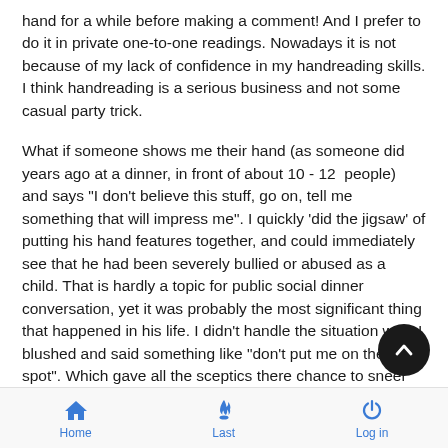hand for a while before making a comment! And I prefer to do it in private one-to-one readings. Nowadays it is not because of my lack of confidence in my handreading skills. I think handreading is a serious business and not some casual party trick.
What if someone shows me their hand (as someone did years ago at a dinner, in front of about 10 - 12  people) and says "I don't believe this stuff, go on, tell me something that will impress me". I quickly 'did the jigsaw' of putting his hand features together, and could immediately see that he had been severely bullied or abused as a child. That is hardly a topic for public social dinner conversation, yet it was probably the most significant thing that happened in his life. I didn't handle the situation well, I blushed and said something like "don't put me on the spot". Which gave all the sceptics there chance to sneer me and palmistry.  I spoke to him about it later in private ar it was true, we spoke about it at length and he said it helped him
Home   Last   Log in